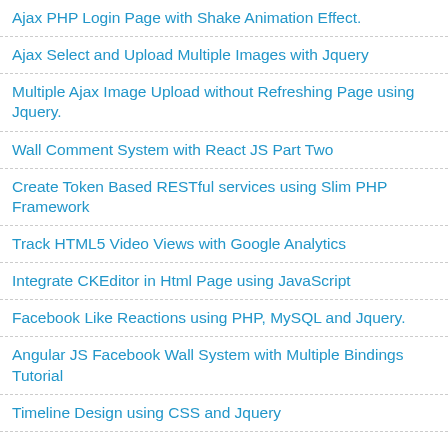Ajax PHP Login Page with Shake Animation Effect.
Ajax Select and Upload Multiple Images with Jquery
Multiple Ajax Image Upload without Refreshing Page using Jquery.
Wall Comment System with React JS Part Two
Create Token Based RESTful services using Slim PHP Framework
Track HTML5 Video Views with Google Analytics
Integrate CKEditor in Html Page using JavaScript
Facebook Like Reactions using PHP, MySQL and Jquery.
Angular JS Facebook Wall System with Multiple Bindings Tutorial
Timeline Design using CSS and Jquery
49 comments: